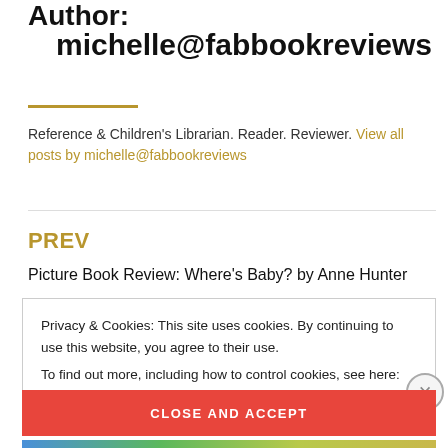Author:
michelle@fabbookreviews
Reference & Children's Librarian. Reader. Reviewer. View all posts by michelle@fabbookreviews
PREV
Picture Book Review: Where's Baby? by Anne Hunter
Privacy & Cookies: This site uses cookies. By continuing to use this website, you agree to their use.
To find out more, including how to control cookies, see here:
Cookie Policy
CLOSE AND ACCEPT